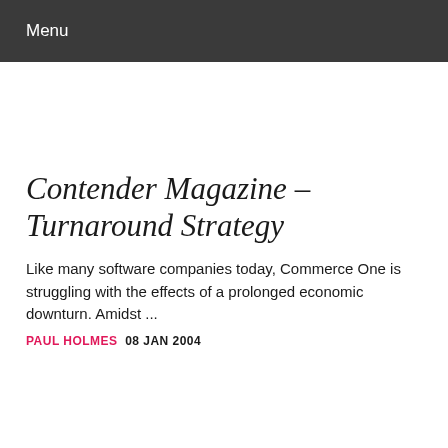Menu
Contender Magazine – Turnaround Strategy
Like many software companies today, Commerce One is struggling with the effects of a prolonged economic downturn. Amidst ...
PAUL HOLMES  08 JAN 2004